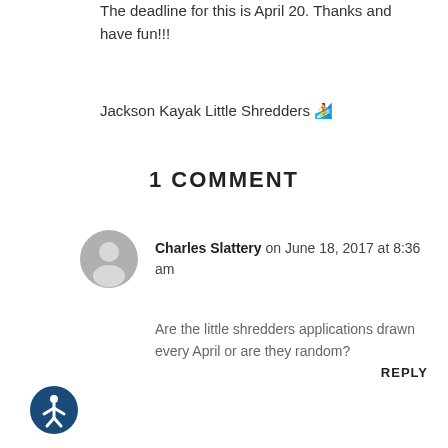The deadline for this is April 20. Thanks and have fun!!!
Jackson Kayak Little Shredders 🏄
1 COMMENT
Charles Slattery on June 18, 2017 at 8:36 am
Are the little shredders applications drawn every April or are they random?
REPLY